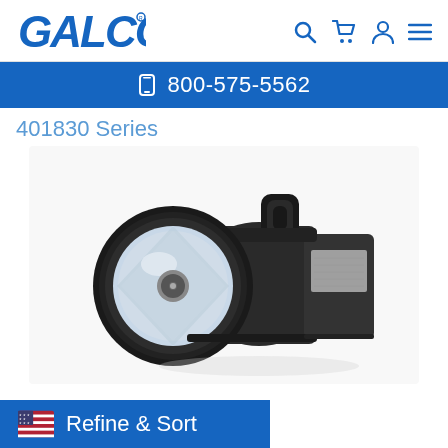[Figure (logo): GALCO logo in blue italic bold font with registered trademark dot]
[Figure (infographic): Header icons: search, cart, user, menu in blue]
📞 800-575-5562
401830 Series
[Figure (photo): Photo of a black industrial handheld spotlight/flashlight with large lens, handle on top, viewed from front-left angle on white background]
Refine & Sort